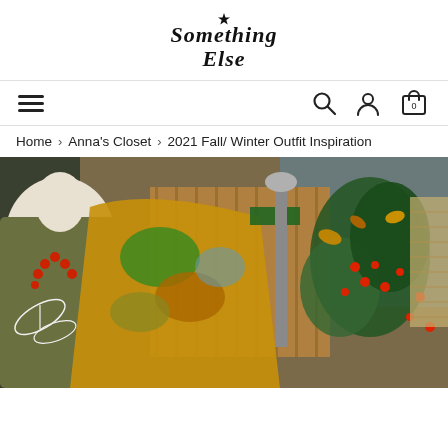[Figure (logo): Something Else handwritten script logo with star]
[Figure (infographic): Navigation bar with hamburger menu on left, and search, account, cart icons on right]
Home > Anna's Closet > 2021 Fall/ Winter Outfit Inspiration
[Figure (photo): Mannequin wearing olive green shirt with white fern print and a tie-dye yellow/orange/brown jacket, with red berry plant in the background against a wooden wall]